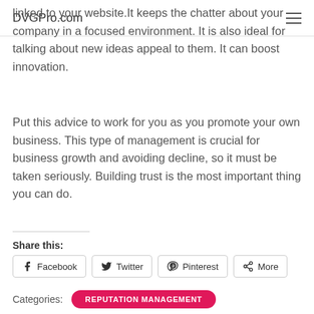DVGPro.com
linked to your website.It keeps the chatter about your company in a focused environment. It is also ideal for talking about new ideas appeal to them. It can boost innovation.
Put this advice to work for you as you promote your own business. This type of management is crucial for business growth and avoiding decline, so it must be taken seriously. Building trust is the most important thing you can do.
Share this:
Facebook  Twitter  Pinterest  More
Categories:  REPUTATION MANAGEMENT